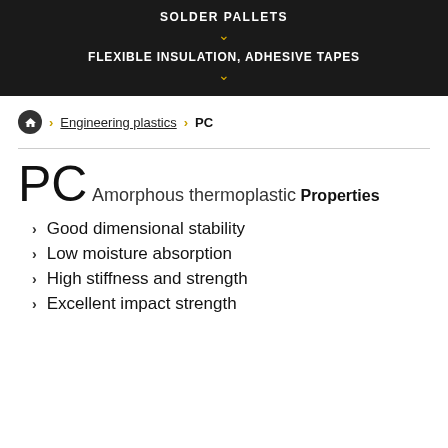SOLDER PALLETS
FLEXIBLE INSULATION, ADHESIVE TAPES
Home > Engineering plastics > PC
PC
Amorphous thermoplastic
Properties
Good dimensional stability
Low moisture absorption
High stiffness and strength
Excellent impact strength